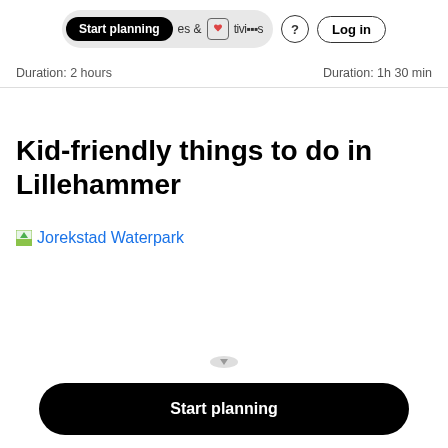Start planning  es & Activities  ?  Log in
Duration: 2 hours   Duration: 1h 30 min
Kid-friendly things to do in Lillehammer
Jorekstad Waterpark
Start planning